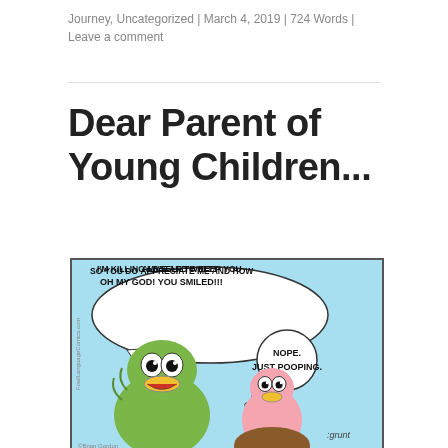Journey, Uncategorized | March 4, 2019 | 724 Words | Leave a comment
Dear Parent of Young Children...
[Figure (illustration): A comic strip showing two bird characters — a large anxious green duck-like bird holding a smaller pink bird. The large bird says in a speech bubble: 'OH MY GOD! YOU SMILED!!! SO YOU DO APPRECIATE ME AND HOW I'M KILLING MYSELF TO KEEP YOU ALIVE AND WELL!' The small pink bird responds in a thought bubble: 'NOPE. JUST POOPING.' with the text ':grunt' near the bottom. The watermark reads 'FowlLanguageComics.com' and '©Brian Gordon'.]